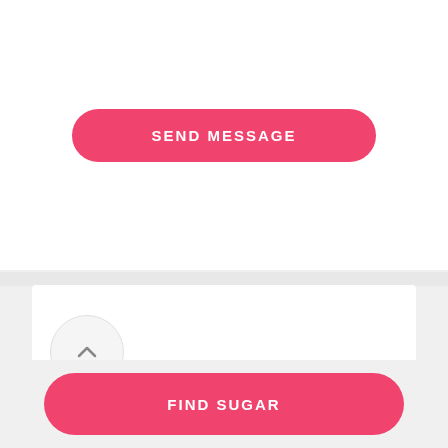[Figure (other): Pink rounded button labeled SEND MESSAGE]
[Figure (other): White card section with a circular up-arrow widget showing 21% and a pink arc indicator]
[Figure (other): Pink rounded button labeled FIND SUGAR at the bottom of the screen]